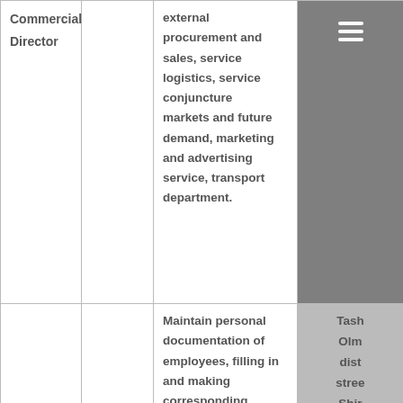| Commercial Director |  | external procurement and sales, service logistics, service conjuncture markets and future demand, marketing and advertising service, transport department. | [icon] |
|  |  | Maintain personal documentation of employees, filling in and making corresponding employment records of employees | Tash... Olm... distr... stree... Shir... |